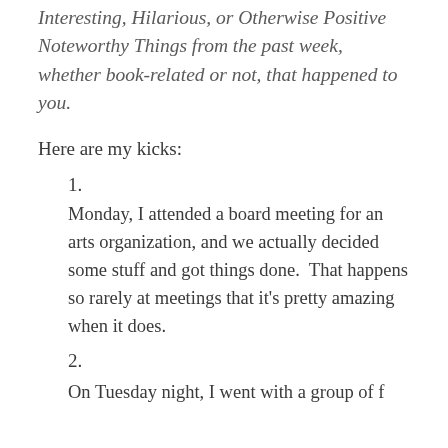Interesting, Hilarious, or Otherwise Positive Noteworthy Things from the past week, whether book-related or not, that happened to you.
Here are my kicks:
1.
Monday, I attended a board meeting for an arts organization, and we actually decided some stuff and got things done.  That happens so rarely at meetings that it's pretty amazing when it does.
2.
On Tuesday night, I went with a group of f